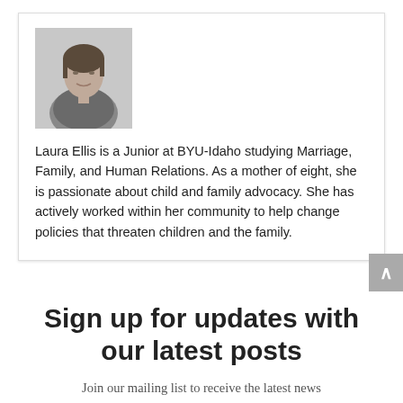[Figure (photo): Headshot of Laura Ellis, a woman with dark hair, wearing a gray top, arms crossed, professional portrait style]
Laura Ellis is a Junior at BYU-Idaho studying Marriage, Family, and Human Relations. As a mother of eight, she is passionate about child and family advocacy. She has actively worked within her community to help change policies that threaten children and the family.
Sign up for updates with our latest posts
Join our mailing list to receive the latest news and updates from our team. Don't worry, we don't sell any information we receive and you can unsubscribe at any time.